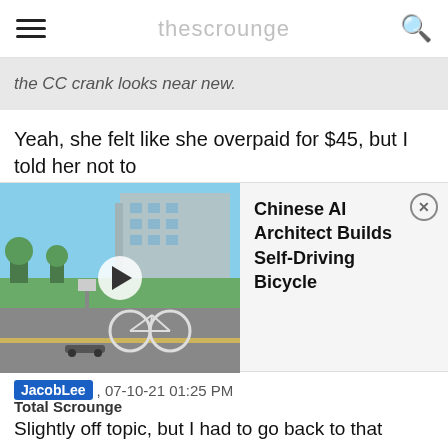the CC crank looks near new.
Yeah, she felt like she overpaid for $45, but I told her not to
[Figure (screenshot): Video thumbnail of a self-driving bicycle on a road, with a play button overlay. Ad panel showing 'Chinese AI Architect Builds Self-Driving Bicycle' with a close (x) button.]
JacobLee , 07-10-21 01:25 PM
Total Scrounge
Slightly off topic, but I had to go back to that estate sale and pick up a few more things!
[Figure (photo): Photo of what appears to be a pump or bicycle component in dark metal with a green accent, photographed in a storage or garage setting.]